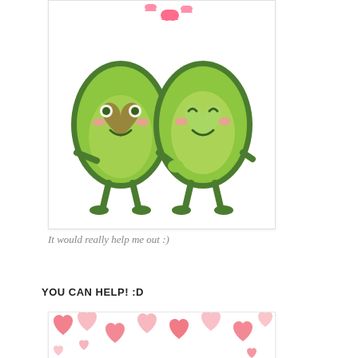[Figure (illustration): Two cartoon avocado characters holding hands with heart shapes on their bodies and small hearts floating above them]
It would really help me out :)
YOU CAN HELP! :D
[Figure (infographic): Promotional image with pink and red paper hearts scattered on white background, red bold text reading 'SUPPORT THE BLOG' with decorative borders, and smaller text reading 'WHAT? WHY? HOW?']